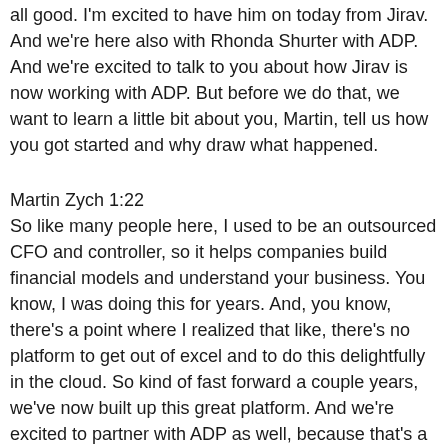all good. I'm excited to have him on today from Jirav. And we're here also with Rhonda Shurter with ADP. And we're excited to talk to you about how Jirav is now working with ADP. But before we do that, we want to learn a little bit about you, Martin, tell us how you got started and why draw what happened.
Martin Zych 1:22
So like many people here, I used to be an outsourced CFO and controller, so it helps companies build financial models and understand your business. You know, I was doing this for years. And, you know, there's a point where I realized that like, there's no platform to get out of excel and to do this delightfully in the cloud. So kind of fast forward a couple years, we've now built up this great platform. And we're excited to partner with ADP as well, because that's a key part of doing the financial forecasting.
Dawn Brolin 1:51
Absolutely, we're definitely gonna get into that. Now, as far as